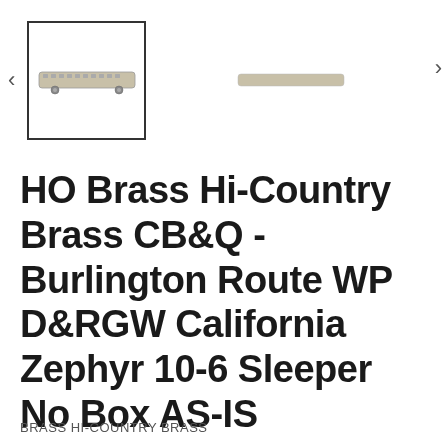[Figure (photo): Product images of HO Brass train car — a selected thumbnail in a bordered box showing a small elongated silver train car, and a secondary smaller image of a similar car to the right, with left and right navigation arrows.]
HO Brass Hi-Country Brass CB&Q - Burlington Route WP D&RGW California Zephyr 10-6 Sleeper No Box AS-IS
BRASS HI-COUNTRY BRASS
$44.00  SOLD OUT